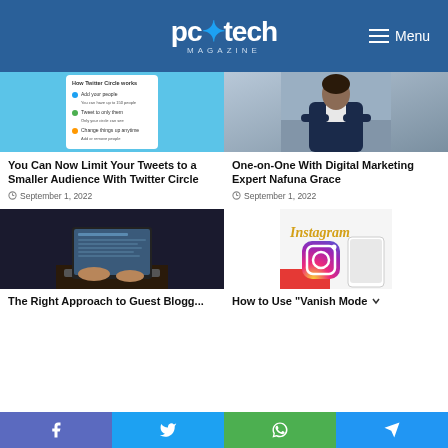pc tech MAGAZINE | Menu
[Figure (photo): Twitter Circle explanation screenshot on a blue background]
[Figure (photo): Professional woman in a blue blazer with arms crossed]
You Can Now Limit Your Tweets to a Smaller Audience With Twitter Circle
September 1, 2022
One-on-One With Digital Marketing Expert Nafuna Grace
September 1, 2022
[Figure (photo): Person typing on a laptop keyboard from above]
[Figure (photo): Instagram app on a tablet/phone screen]
The Right Approach to Guest Blogging
How to Use “Vanish Mode” or Self-destructing…
Facebook | Twitter | WhatsApp | Telegram